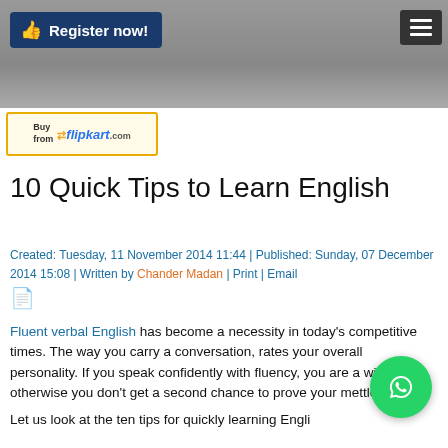[Figure (screenshot): Website header banner with grey textured background, 'Register now!' button with thumbs-up icon on dark blue background (top-left), and hamburger menu icon on dark background (top-right)]
[Figure (logo): Flipkart 'Buy from flipkart.com' advertisement banner with yellow border]
10 Quick Tips to Learn English
Created: Tuesday, 11 November 2014 11:44 | Published: Sunday, 07 December 2014 15:08 | Written by Chander Madan | Print | Email
Fluent verbal English has become a necessity in today’s competitive times. The way you carry a conversation, rates your overall personality. If you speak confidently with fluency, you are a winner, otherwise you don’t get a second chance to prove your mettle.
Let us look at the ten tips for quickly learning English so that you never lose a chance.